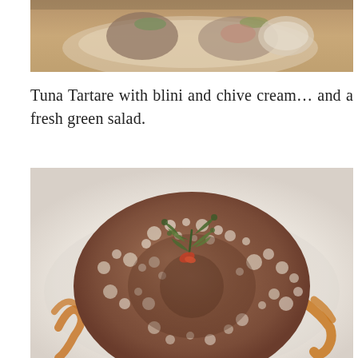[Figure (photo): Partial view of a food dish, top portion cropped, showing plated appetizers on a white surface]
Tuna Tartare with blini and chive cream… and a fresh green salad.
[Figure (photo): A lacy, donut-shaped blini topped with fresh herbs and red garnish on a white plate with orange sauce drizzled around it]